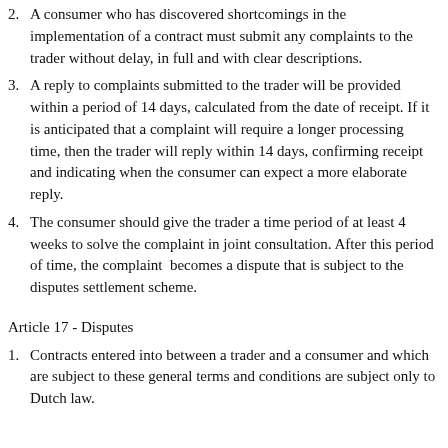2. A consumer who has discovered shortcomings in the implementation of a contract must submit any complaints to the trader without delay, in full and with clear descriptions.
3. A reply to complaints submitted to the trader will be provided within a period of 14 days, calculated from the date of receipt. If it is anticipated that a complaint will require a longer processing time, then the trader will reply within 14 days, confirming receipt and indicating when the consumer can expect a more elaborate reply.
4. The consumer should give the trader a time period of at least 4 weeks to solve the complaint in joint consultation. After this period of time, the complaint becomes a dispute that is subject to the disputes settlement scheme.
Article 17 - Disputes
1. Contracts entered into between a trader and a consumer and which are subject to these general terms and conditions are subject only to Dutch law.